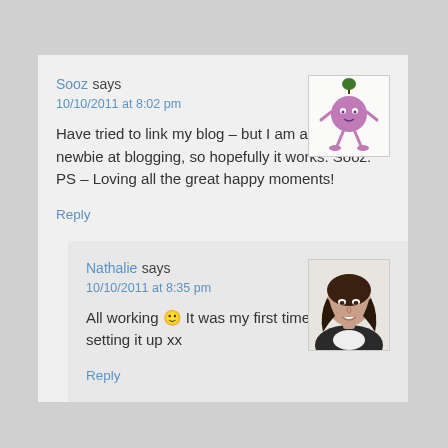Sooz says
10/10/2011 at 8:02 pm
Have tried to link my blog – but I am a real newbie at blogging, so hopefully it works. Sooz. PS – Loving all the great happy moments!
Reply
[Figure (illustration): Cartoon avatar of a round purple character with small eyes and stick limbs on a white background]
Nathalie says
10/10/2011 at 8:35 pm
All working 🙂 It was my first time too setting it up xx
Reply
[Figure (photo): Profile photo of a woman with long dark hair wearing a dark jacket, smiling]